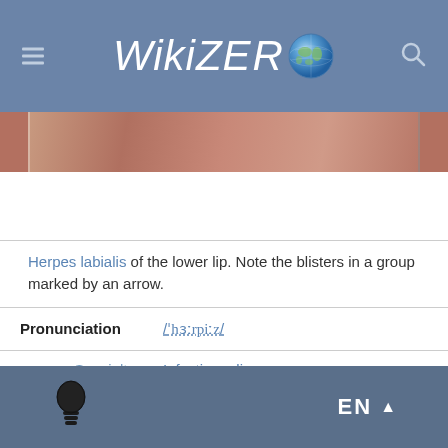WikiZero
[Figure (photo): Partial photo of skin showing herpes labialis blisters on lower lip]
Herpes labialis of the lower lip. Note the blisters in a group marked by an arrow.
| Field | Value |
| --- | --- |
| Pronunciation | /'hɜːrpiːz/ |
| Specialty | Infectious disease |
| Symptoms | Blisters that break open and form small ulcers, fever, swollen lymph nodes |
| Duration | 2–4 weeks |
EN ▲